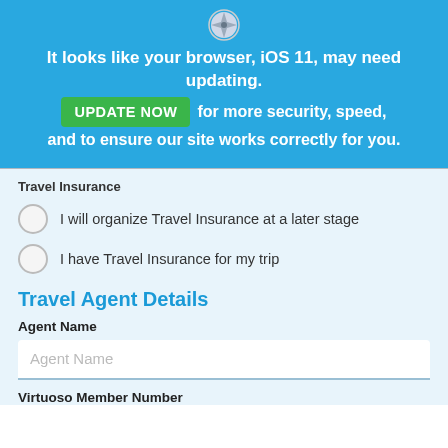[Figure (other): Browser icon (safari/compass style) at top of banner]
It looks like your browser, iOS 11, may need updating.
UPDATE NOW  for more security, speed, and to ensure our site works correctly for you.
Travel Insurance
I will organize Travel Insurance at a later stage
I have Travel Insurance for my trip
Travel Agent Details
Agent Name
Agent Name
Virtuoso Member Number